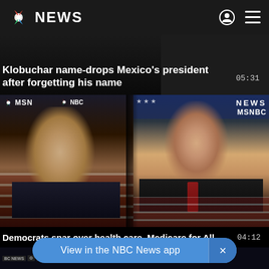NBC NEWS
Klobuchar name-drops Mexico's president after forgetting his name
[Figure (screenshot): Split-screen video thumbnail showing Mike Bloomberg on the left and Joe Biden on the right, both at a debate stage with MSNBC/NBC News logos visible in the background with American flag]
Democrats spar over health care, Medicare for All
[Figure (screenshot): Video thumbnail strip showing debate candidates with multiple network logos (BC NEWS, MSNBC, HBC NEWS) visible]
View in the NBC News app